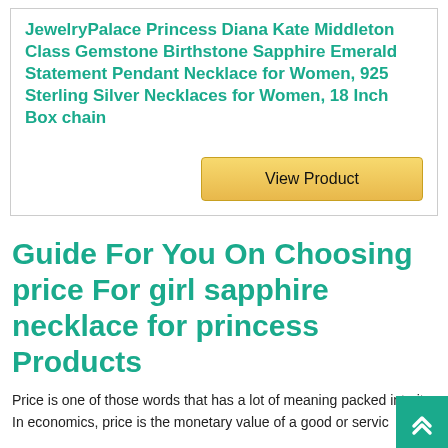JewelryPalace Princess Diana Kate Middleton Class Gemstone Birthstone Sapphire Emerald Statement Pendant Necklace for Women, 925 Sterling Silver Necklaces for Women, 18 Inch Box chain
[Figure (other): View Product button - golden/yellow gradient button with text 'View Product']
Guide For You On Choosing price For girl sapphire necklace for princess Products
Price is one of those words that has a lot of meaning packed into it. In economics, price is the monetary value of a good or servic